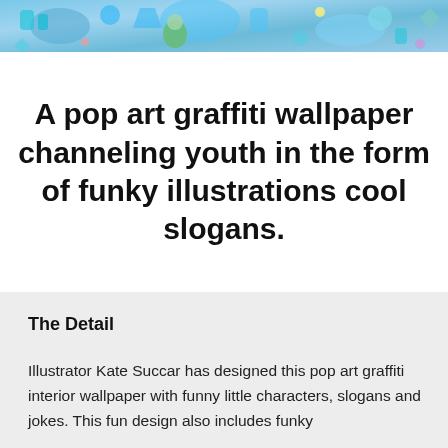[Figure (illustration): A colorful pop art graffiti banner illustration at the top of the page featuring cartoon characters, bright colors (blue, green, teal), funky lettering and decorative elements.]
A pop art graffiti wallpaper channeling youth in the form of funky illustrations cool slogans.
The Detail
Illustrator Kate Succar has designed this pop art graffiti interior wallpaper with funny little characters, slogans and jokes. This fun design also includes funky